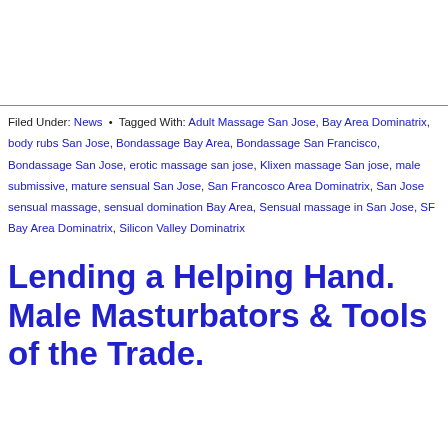Filed Under: News • Tagged With: Adult Massage San Jose, Bay Area Dominatrix, body rubs San Jose, Bondassage Bay Area, Bondassage San Francisco, Bondassage San Jose, erotic massage san jose, Klixen massage San jose, male submissive, mature sensual San Jose, San Francosco Area Dominatrix, San Jose sensual massage, sensual domination Bay Area, Sensual massage in San Jose, SF Bay Area Dominatrix, Silicon Valley Dominatrix
Lending a Helping Hand. Male Masturbators & Tools of the Trade.